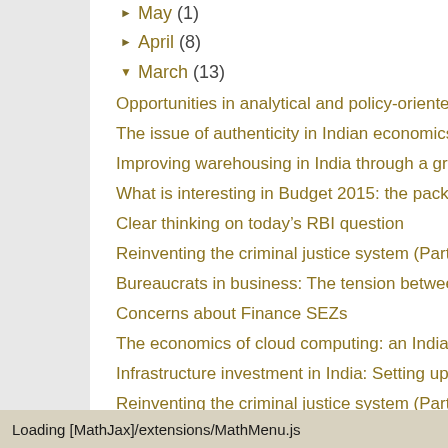May (1)
April (8)
March (13)
Opportunities in analytical and policy-oriented
The issue of authenticity in Indian economics
Improving warehousing in India through a grad
What is interesting in Budget 2015: the packag
Clear thinking on today's RBI question
Reinventing the criminal justice system (Part 2
Bureaucrats in business: The tension between
Concerns about Finance SEZs
The economics of cloud computing: an Indian
Infrastructure investment in India: Setting up th
Reinventing the criminal justice system (Part 1
mework Agreement: The fi
Loading [MathJax]/extensions/MathMenu.js